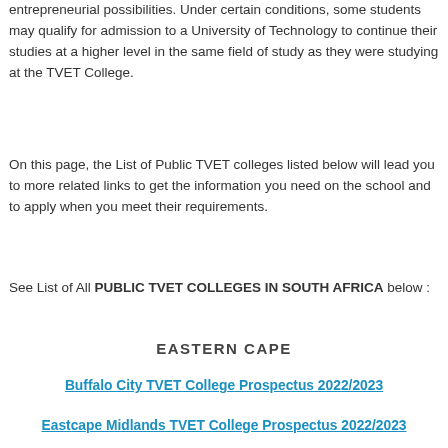entrepreneurial possibilities. Under certain conditions, some students may qualify for admission to a University of Technology to continue their studies at a higher level in the same field of study as they were studying at the TVET College.
On this page, the List of Public TVET colleges listed below will lead you to more related links to get the information you need on the school and to apply when you meet their requirements.
See List of All PUBLIC TVET COLLEGES IN SOUTH AFRICA below :
EASTERN CAPE
Buffalo City TVET College Prospectus 2022/2023
Eastcape Midlands TVET College Prospectus 2022/2023